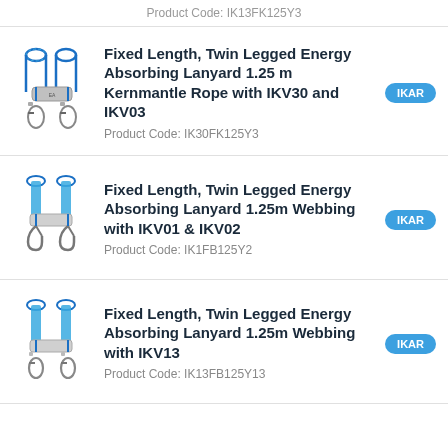Product Code: IK13FK125Y3
[Figure (photo): Blue kernmantle rope twin legged energy absorbing lanyard with carabiners]
Fixed Length, Twin Legged Energy Absorbing Lanyard 1.25 m Kernmantle Rope with IKV30 and IKV03
Product Code: IK30FK125Y3
[Figure (photo): Blue webbing twin legged energy absorbing lanyard with snap hooks]
Fixed Length, Twin Legged Energy Absorbing Lanyard 1.25m Webbing with IKV01 & IKV02
Product Code: IK1FB125Y2
[Figure (photo): Blue webbing twin legged energy absorbing lanyard with carabiners]
Fixed Length, Twin Legged Energy Absorbing Lanyard 1.25m Webbing with IKV13
Product Code: IK13FB125Y13